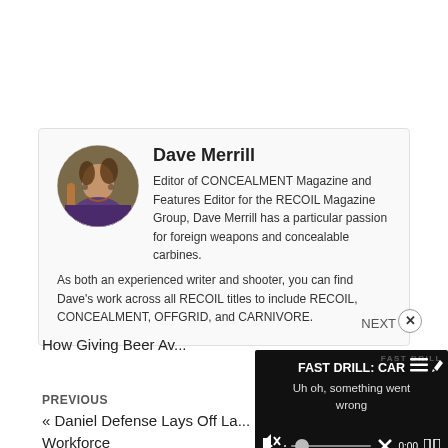[Figure (other): Author bio card for Dave Merrill with circular profile photo, name, and biography text]
NEXT
How Giving Beer Av...
PREVIOUS
« Daniel Defense Lays Off La... Workforce
[Figure (screenshot): Video player overlay showing 'FAST DRILL: CAR' title with error message 'Uh oh, something went wrong' and playback controls at 0:00]